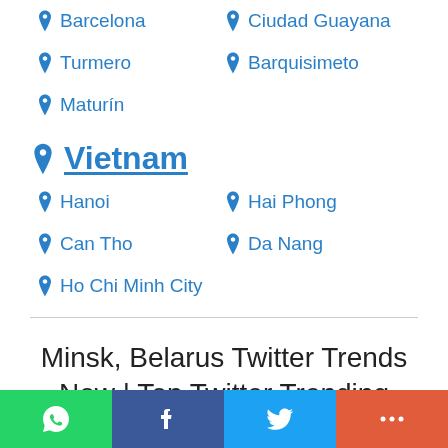Barcelona
Ciudad Guayana
Turmero
Barquisimeto
Maturín
Vietnam
Hanoi
Hai Phong
Can Tho
Da Nang
Ho Chi Minh City
Minsk, Belarus Twitter Trends Now | Top Twitter Trending Topics & Hashtags Today